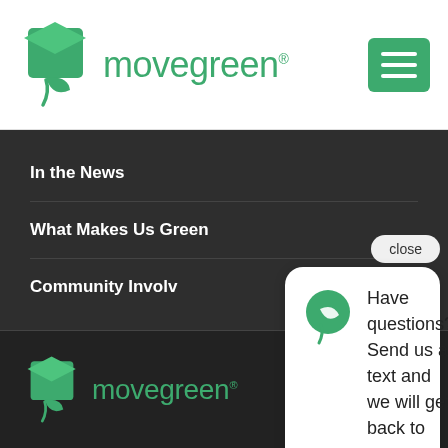[Figure (logo): Movegreen logo with green box/leaf icon and green text 'movegreen' in top header bar]
[Figure (other): Green hamburger menu button in top right corner]
In the News
What Makes Us Green
Community Involv...
[Figure (screenshot): Chat popup overlay with close button and speech bubble containing Movegreen leaf logo and text: Have questions? Send us a text and we will get back to you ASAP.]
[Figure (logo): Movegreen logo in footer (dark background) with green box/leaf icon and green text 'movegreen']
[Figure (other): Green circular SMS/mobile button in footer right]